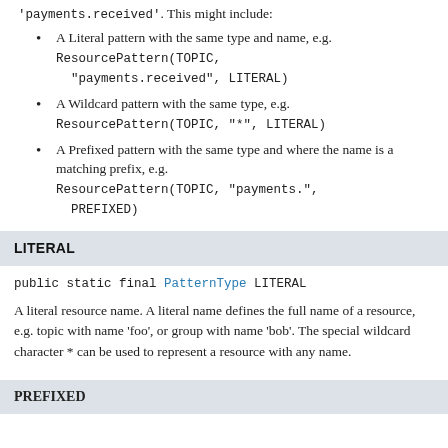'payments.received'. This might include:
A Literal pattern with the same type and name, e.g. ResourcePattern(TOPIC, "payments.received", LITERAL)
A Wildcard pattern with the same type, e.g. ResourcePattern(TOPIC, "*", LITERAL)
A Prefixed pattern with the same type and where the name is a matching prefix, e.g. ResourcePattern(TOPIC, "payments.", PREFIXED)
LITERAL
public static final PatternType LITERAL
A literal resource name. A literal name defines the full name of a resource, e.g. topic with name 'foo', or group with name 'bob'. The special wildcard character * can be used to represent a resource with any name.
PREFIXED